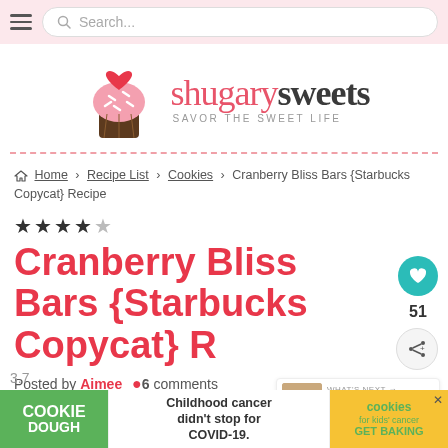Search...
[Figure (logo): Shugary Sweets logo with cupcake icon and text 'shugarysweets SAVOR THE SWEET LIFE']
Home › Recipe List › Cookies › Cranberry Bliss Bars {Starbucks Copycat} Recipe
Cranberry Bliss Bars {Starbucks Copycat} Recipe
Posted by Aimee 6 comments
[Figure (other): WHAT'S NEXT Gingerbread Cookie Bars...]
[Figure (other): Advertisement: COOKIE DOUGH - Childhood cancer didn't stop for COVID-19. cookies for kids cancer GET BAKING]